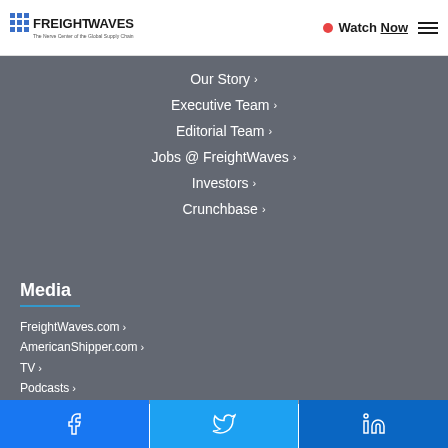FREIGHTWAVES — The Nerve Center of the Global Supply Chain | Watch Now | Menu
Our Story ›
Executive Team ›
Editorial Team ›
Jobs @ FreightWaves ›
Investors ›
Crunchbase ›
Media
FreightWaves.com ›
AmericanShipper.com ›
TV ›
Podcasts ›
Satellite Radio ›
Infographics ›
Webinars ›
Facebook | Twitter | LinkedIn